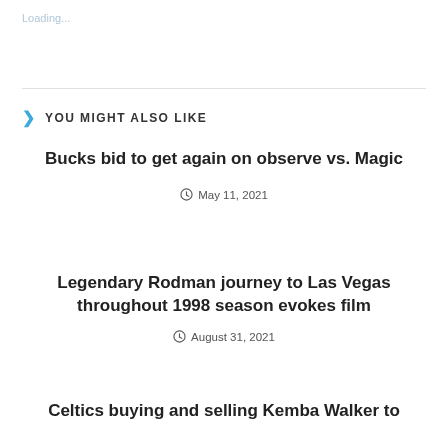Loading...
YOU MIGHT ALSO LIKE
Bucks bid to get again on observe vs. Magic
May 11, 2021
Legendary Rodman journey to Las Vegas throughout 1998 season evokes film
August 31, 2021
Celtics buying and selling Kemba Walker to